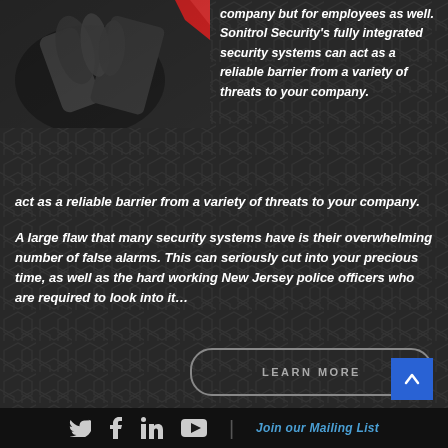[Figure (photo): Top-left corner image showing a hand/person near security equipment in dark monochrome with red accent]
company but for employees as well. Sonitrol Security's fully integrated security systems can act as a reliable barrier from a variety of threats to your company.
A large flaw that many security systems have is their overwhelming number of false alarms. This can seriously cut into your precious time, as well as the hard working New Jersey police officers who are required to look into it...
[Figure (other): LEARN MORE button with rounded border on dark hexagon background]
[Figure (other): Blue scroll-to-top button with upward arrow]
Social media icons (Twitter, Facebook, LinkedIn, YouTube) | Join our Mailing List